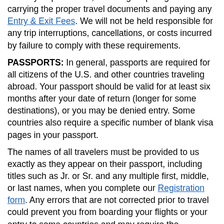all entry requirements, including acquiring and carrying the proper travel documents and paying any Entry & Exit Fees. We will not be held responsible for any trip interruptions, cancellations, or costs incurred by failure to comply with these requirements.
PASSPORTS: In general, passports are required for all citizens of the U.S. and other countries traveling abroad. Your passport should be valid for at least six months after your date of return (longer for some destinations), or you may be denied entry. Some countries also require a specific number of blank visa pages in your passport.
The names of all travelers must be provided to us exactly as they appear on their passport, including titles such as Jr. or Sr. and any multiple first, middle, or last names, when you complete our Registration form. Any errors that are not corrected prior to travel could prevent you from boarding your flights or your entry to some countries and may require the purchase of new airfare. See Name Changes.